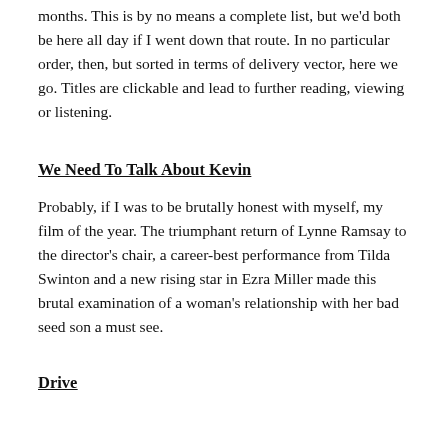months. This is by no means a complete list, but we'd both be here all day if I went down that route. In no particular order, then, but sorted in terms of delivery vector, here we go. Titles are clickable and lead to further reading, viewing or listening.
We Need To Talk About Kevin
Probably, if I was to be brutally honest with myself, my film of the year. The triumphant return of Lynne Ramsay to the director's chair, a career-best performance from Tilda Swinton and a new rising star in Ezra Miller made this brutal examination of a woman's relationship with her bad seed son a must see.
Drive